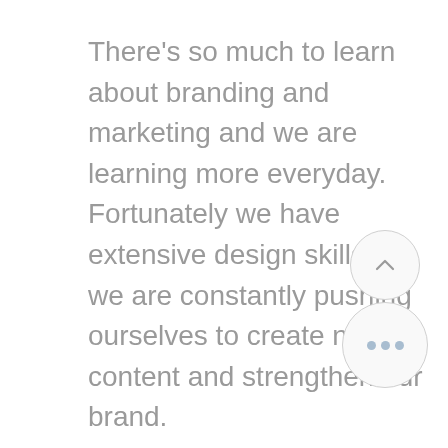There's so much to learn about branding and marketing and we are learning more everyday. Fortunately we have extensive design skills so we are constantly pushing ourselves to create new content and strengthen our brand.
[Figure (other): Circular up-arrow button with light grey border]
[Figure (other): Circular ellipsis (three dots) button with light grey border]